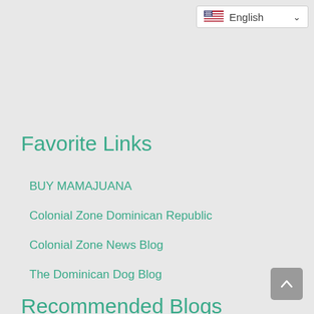[Figure (screenshot): Language selector dropdown showing US flag and 'English' text with a down arrow chevron]
Favorite Links
BUY MAMAJUANA
Colonial Zone Dominican Republic
Colonial Zone News Blog
The Dominican Dog Blog
Recommended Blogs
[Figure (other): Back to top button - grey rounded square with upward chevron arrow]